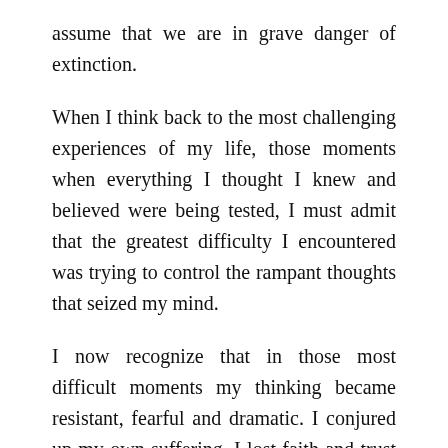assume that we are in grave danger of extinction.
When I think back to the most challenging experiences of my life, those moments when everything I thought I knew and believed were being tested, I must admit that the greatest difficulty I encountered was trying to control the rampant thoughts that seized my mind.
I now recognize that in those most difficult moments my thinking became resistant, fearful and dramatic. I conjured up my own suffering. I lost faith and trust in all that I knew to be true.
Feeling sorry for myself, blaming others, not wanting to go through the trials of whatever the